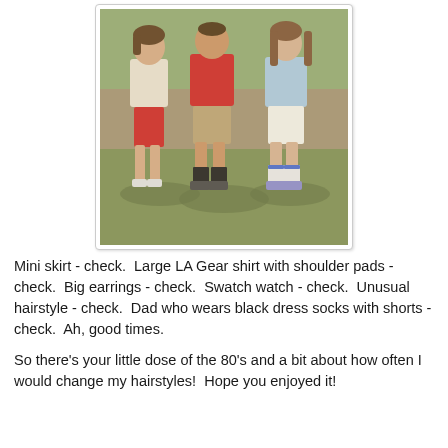[Figure (photo): An old 1980s photograph of three people standing together outdoors on grass. On the left is a girl/young woman wearing a white LA Gear shirt and red shorts/mini skirt. In the middle is a man (dad) wearing a red shirt, khaki shorts, and black dress socks with sneakers. On the right is another young person wearing a light blue shirt and white shorts. Trees and outdoor scenery visible in background.]
Mini skirt - check.  Large LA Gear shirt with shoulder pads - check.  Big earrings - check.  Swatch watch - check.  Unusual hairstyle - check.  Dad who wears black dress socks with shorts - check.  Ah, good times.
So there's your little dose of the 80's and a bit about how often I would change my hairstyles!  Hope you enjoyed it!